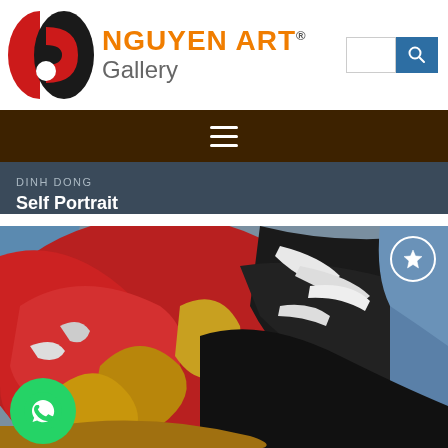[Figure (logo): Nguyen Art Gallery logo with red/black circular icon and orange/gray text]
NGUYEN ART® Gallery
DINH DONG
Self Portrait
[Figure (photo): Abstract oil painting with swirling red, black, gold, white, and blue brushstrokes depicting a self portrait by Dinh Dong]